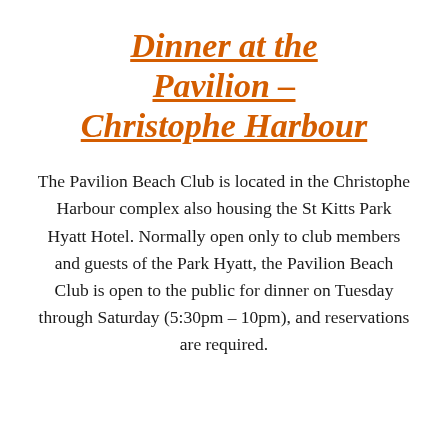Dinner at the Pavilion – Christophe Harbour
The Pavilion Beach Club is located in the Christophe Harbour complex also housing the St Kitts Park Hyatt Hotel. Normally open only to club members and guests of the Park Hyatt, the Pavilion Beach Club is open to the public for dinner on Tuesday through Saturday (5:30pm – 10pm), and reservations are required.